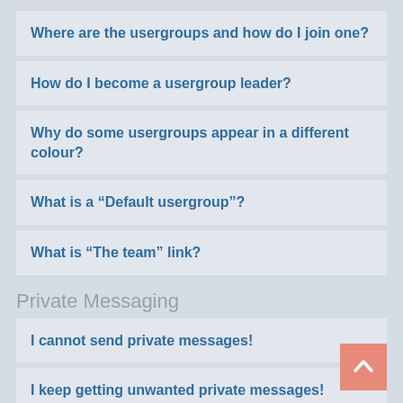Where are the usergroups and how do I join one?
How do I become a usergroup leader?
Why do some usergroups appear in a different colour?
What is a “Default usergroup”?
What is “The team” link?
Private Messaging
I cannot send private messages!
I keep getting unwanted private messages!
I have received a spamming or abusive email from this board!